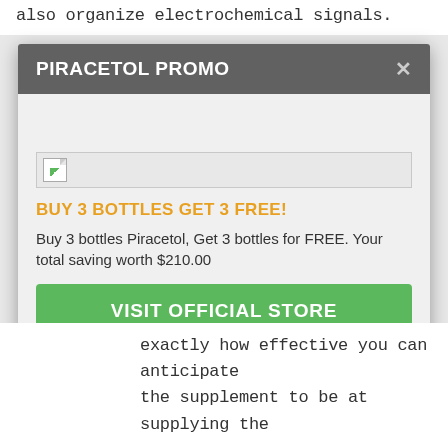also organize electrochemical signals.
PIRACETOL PROMO
[Figure (other): Broken image placeholder — a file icon with dog-ear corner and a green triangle, inside a light gray bordered box]
BUY 3 BOTTLES GET 3 FREE!
Buy 3 bottles Piracetol, Get 3 bottles for FREE. Your total saving worth $210.00
VISIT OFFICIAL STORE
exactly how effective you can anticipate the supplement to be at supplying the